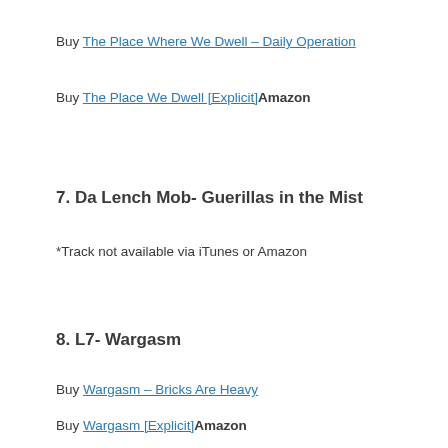Buy The Place Where We Dwell – Daily Operation
Buy The Place We Dwell [Explicit] Amazon
7. Da Lench Mob- Guerillas in the Mist
*Track not available via iTunes or Amazon
8.  L7- Wargasm
Buy Wargasm – Bricks Are Heavy
Buy Wargasm [Explicit] Amazon